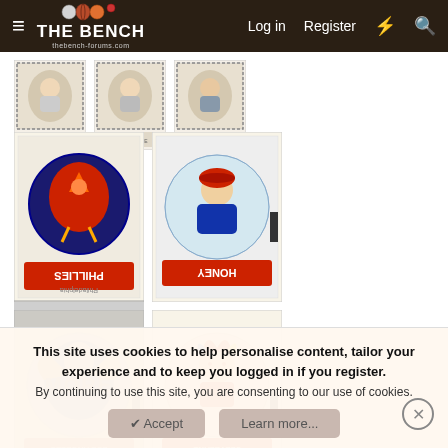THE BENCH | thebenchforums.com | Log in | Register
[Figure (photo): Three vintage baseball portrait cards in a row showing player headshots with decorative borders]
[Figure (photo): Four vintage baseball/sports sticker cards arranged in a 2x2 grid, showing team mascot illustrations including Philadelphia Phillies and other teams, some upside down]
[Figure (photo): Two more vintage sports sticker cards partially visible at bottom]
This site uses cookies to help personalise content, tailor your experience and to keep you logged in if you register.
By continuing to use this site, you are consenting to our use of cookies.